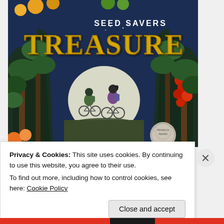[Figure (illustration): Book cover of 'Seed Savers Treasure' showing two children on bicycles riding toward a large moon, framed by lush plants with fruits including tomatoes and peppers. Text reads 'SEED SAVERS' in white and 'TREASURE' in large yellow letters. A Franklin Award medal badge is visible in the lower right corner.]
Privacy & Cookies: This site uses cookies. By continuing to use this website, you agree to their use.
To find out more, including how to control cookies, see here: Cookie Policy
Close and accept